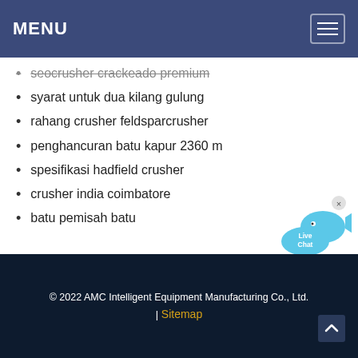MENU
seocrusher crackeado premium
syarat untuk dua kilang gulung
rahang crusher feldsparcrusher
penghancuran batu kapur 2360 m
spesifikasi hadfield crusher
crusher india coimbatore
batu pemisah batu
[Figure (illustration): Live Chat bubble icon in blue]
© 2022 AMC Intelligent Equipment Manufacturing Co., Ltd. | Sitemap